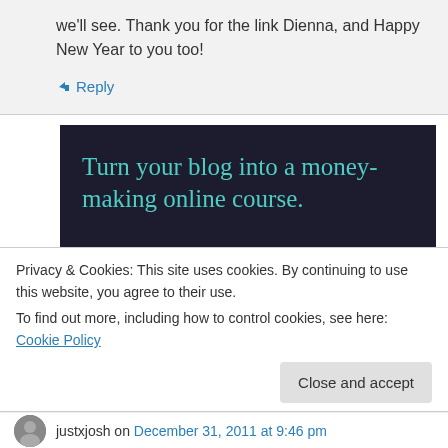we'll see. Thank you for the link Dienna, and Happy New Year to you too!
↳ Reply
[Figure (infographic): Dark navy background advertisement with teal text reading 'Turn your blog into a money-making online course.' and a teal rounded 'Learn More' button.]
Privacy & Cookies: This site uses cookies. By continuing to use this website, you agree to their use.
To find out more, including how to control cookies, see here: Cookie Policy
Close and accept
justxjosh on December 31, 2011 at 9:46 pm